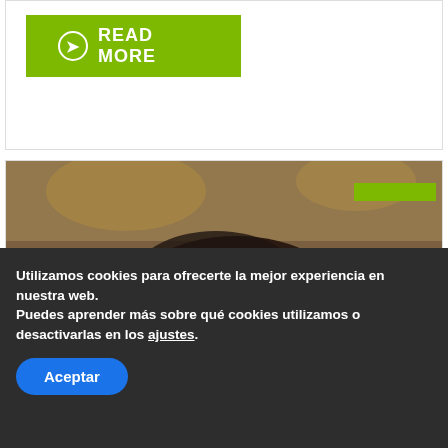[Figure (other): Green READ MORE button with arrow circle icon on white card background]
[Figure (photo): Close-up photo of a small dark brown/black frog with white spots sitting on dark reddish-brown leaves or bark. A small green tag/label is visible in the upper right corner of the image.]
Utilizamos cookies para ofrecerte la mejor experiencia en nuestra web.
Puedes aprender más sobre qué cookies utilizamos o desactivarlas en los ajustes.
Aceptar